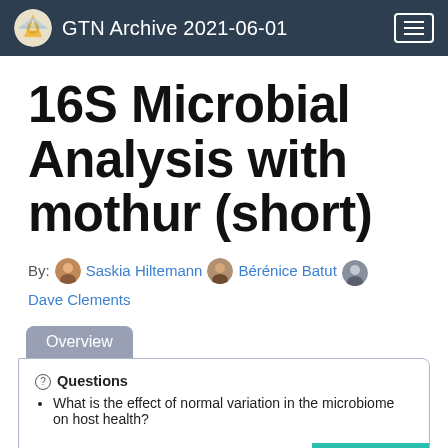GTN Archive 2021-06-01
16S Microbial Analysis with mothur (short)
By: Saskia Hiltemann  Bérénice Batut  Dave Clements
Overview
Questions
• What is the effect of normal variation in the microbiome on host health?